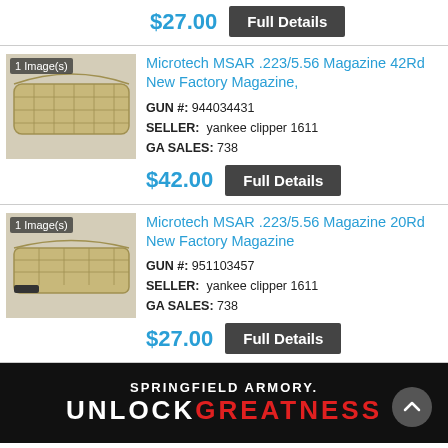$27.00
Full Details
[Figure (photo): Photo of a tan/yellow curved rifle magazine (42-round), labeled '1 Image(s)']
Microtech MSAR .223/5.56 Magazine 42Rd New Factory Magazine,
GUN #: 944034431
SELLER: yankee clipper 1611
GA SALES: 738
$42.00
Full Details
[Figure (photo): Photo of a tan/yellow curved rifle magazine (20-round) with black base, labeled '1 Image(s)']
Microtech MSAR .223/5.56 Magazine 20Rd New Factory Magazine
GUN #: 951103457
SELLER: yankee clipper 1611
GA SALES: 738
$27.00
Full Details
[Figure (other): Springfield Armory advertisement banner with 'SPRINGFIELD ARMORY.' in white and 'UNLOCKGREATNESS' text, unlock in white and GREATNESS in red/orange]